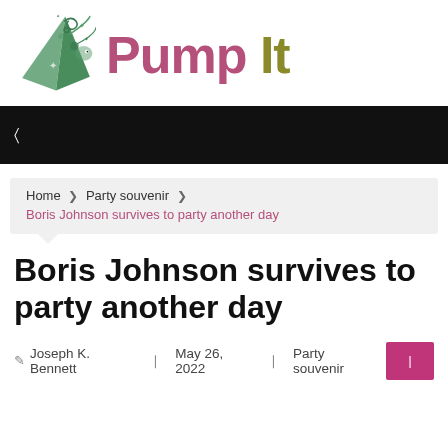[Figure (logo): Pump It website logo with a party hat/cone icon in green with decorative swirls and stars, and text 'Pump It' with 'Pump' in mauve/pink and 'It' in olive/gold colors]
☰
Home ❯ Party souvenir ❯ Boris Johnson survives to party another day
Boris Johnson survives to party another day
✎ Joseph K. Bennett  ❙ May 26, 2022  ❙ Party souvenir